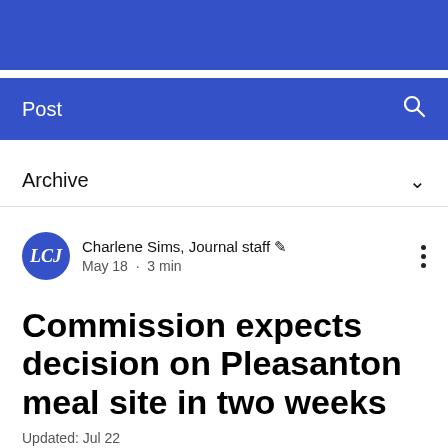[Figure (other): Blue banner at top of page, navigation header area]
Post
Archive
Charlene Sims, Journal staff ✒ May 18 · 3 min
Commission expects decision on Pleasanton meal site in two weeks
Updated: Jul 22